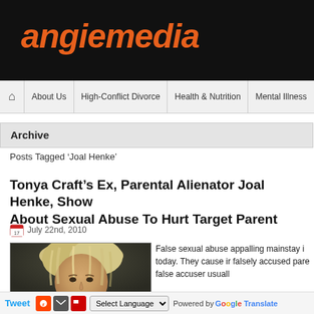angiemedia
About Us | High-Conflict Divorce | Health & Nutrition | Mental Illness
Archive
Posts Tagged 'Joal Henke'
Tonya Craft's Ex, Parental Alienator Joal Henke, Show About Sexual Abuse To Hurt Target Parent
July 22nd, 2010
[Figure (photo): Photo of a blonde woman, closely cropped head shot]
False sexual abuse appalling mainstay i today. They cause ir falsely accused pare false accuser usuall
Tweet | Reddit | Mail | Select Language | Powered by Google Translate